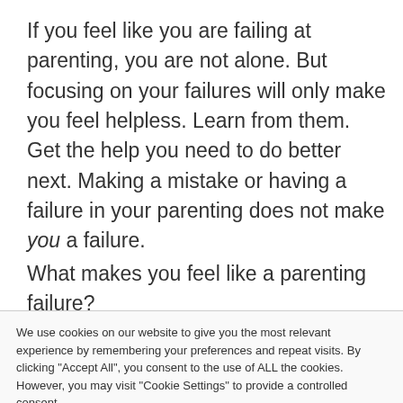If you feel like you are failing at parenting, you are not alone. But focusing on your failures will only make you feel helpless. Learn from them. Get the help you need to do better next. Making a mistake or having a failure in your parenting does not make you a failure.
What makes you feel like a parenting failure?
We use cookies on our website to give you the most relevant experience by remembering your preferences and repeat visits. By clicking "Accept All", you consent to the use of ALL the cookies. However, you may visit "Cookie Settings" to provide a controlled consent.